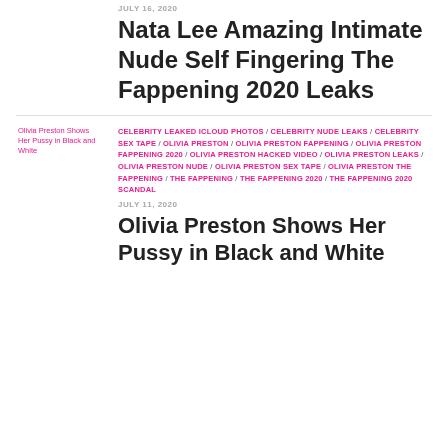JULY 16, 2020
Nata Lee Amazing Intimate Nude Self Fingering The Fappening 2020 Leaks
CELEBRITY LEAKED ICLOUD PHOTOS / CELEBRITY NUDE LEAKS / CELEBRITY SEX TAPE / OLIVIA PRESTON / OLIVIA PRESTON FAPPENING / OLIVIA PRESTON FAPPENING 2020 / OLIVIA PRESTON HACKED VIDEO / OLIVIA PRESTON LEAKS / OLIVIA PRESTON NUDE / OLIVIA PRESTON SEX TAPE / OLIVIA PRESTON THE FAPPENING / THE FAPPENING / THE FAPPENING 2020 / THE FAPPENING 2020 SCANDAL
JULY 11, 2020
Olivia Preston Shows Her Pussy in Black and White